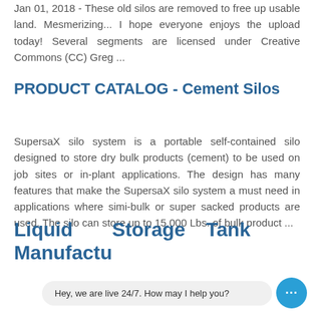Jan 01, 2018 - These old silos are removed to free up usable land. Mesmerizing... I hope everyone enjoys the upload today! Several segments are licensed under Creative Commons (CC) Greg ...
PRODUCT CATALOG - Cement Silos
SupersaX silo system is a portable self-contained silo designed to store dry bulk products (cement) to be used on job sites or in-plant applications. The design has many features that make the SupersaX silo system a must need in applications where simi-bulk or super sacked products are used. The silo can store up to 15,000 Lbs. of bulk product ...
Liquid Manufacturing   Storage   Tank
Hey, we are live 24/7. How may I help you?